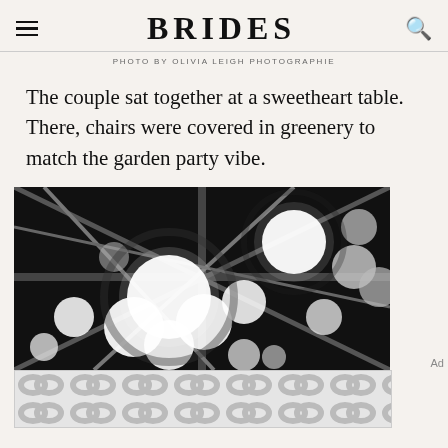BRIDES
PHOTO BY OLIVIA LEIGH PHOTOGRAPHIE
The couple sat together at a sweetheart table. There, chairs were covered in greenery to match the garden party vibe.
[Figure (photo): Black and white photograph of hanging globe pendant lights against a dark ceiling, with metal rods and bokeh effect creating overlapping circular light shapes.]
[Figure (other): Advertisement banner with repeating grey circular chain-link pattern on light background.]